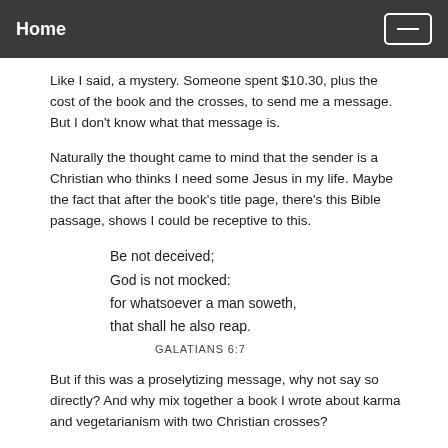Home
Like I said, a mystery. Someone spent $10.30, plus the cost of the book and the crosses, to send me a message. But I don't know what that message is.
Naturally the thought came to mind that the sender is a Christian who thinks I need some Jesus in my life. Maybe the fact that after the book's title page, there's this Bible passage, shows I could be receptive to this.
Be not deceived;
God is not mocked:
for whatsoever a man soweth,
that shall he also reap.
GALATIANS 6:7
But if this was a proselytizing message, why not say so directly? And why mix together a book I wrote about karma and vegetarianism with two Christian crosses?
Anyway, its nice to know that someone seemingly cares enough about my (nonexistent) soul to go to the trouble